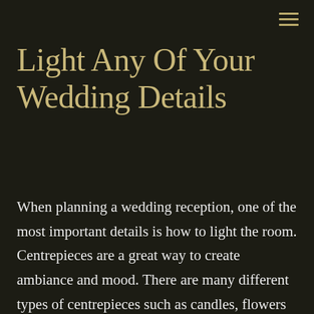≡
Light Any Of Your Wedding Details
When planning a wedding reception, one of the most important details is how to light the room. Centrepieces are a great way to create ambiance and mood. There are many different types of centrepieces such as candles, flowers and paper lanterns.